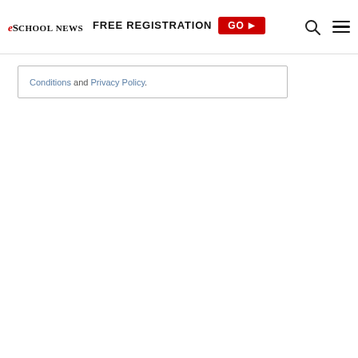eSchool News | FREE REGISTRATION GO ▶
Conditions and Privacy Policy.